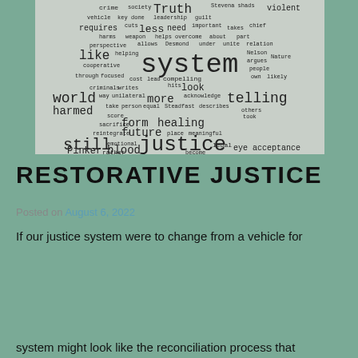[Figure (other): Word cloud image on light grey background featuring words related to restorative justice including: system, justice, truth, telling, future, healing, world, still, blood, form, more, look, harmed, Pinker, rather, requires, less, like, crime, violent, society, vehicle, key, leadership, guilt, harms, weapon, helps, overcome, Desmond, under, Nelson, argues, Nature, cooperative, focused, compelling, cost, lead, writes, unilateral, hits, own, likely, way, take, person, equal, score, Steadfast, describes, others, took, sacrifice, reintegrate, place, meaningful, emotional, Pinker, legal, eye, acceptance, become]
RESTORATIVE JUSTICE
Posted on August 6, 2022
If our justice system were to change from a vehicle for
Privacy & Cookies: This site uses cookies. By continuing to use this website, you agree to their use.
To find out more, including how to control cookies, see here: Cookie Policy
Close and accept
system might look like the reconciliation process that